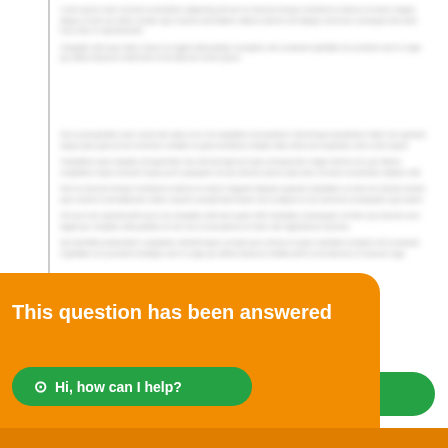[Figure (screenshot): A document page with blurred/redacted text content, showing two paragraphs of unreadable blurred text. A left vertical border line is visible. An orange overlay banner at the bottom left reads 'This question has been answered' with a green WhatsApp button labeled 'Hi, how can I help?' and partially visible text 'wer' peeking out from behind the banner.]
This question has been answered
Hi, how can I help?